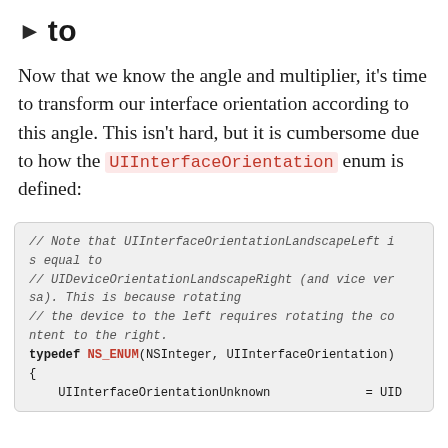▶ to
Now that we know the angle and multiplier, it's time to transform our interface orientation according to this angle. This isn't hard, but it is cumbersome due to how the UIInterfaceOrientation enum is defined:
// Note that UIInterfaceOrientationLandscapeLeft is equal to
// UIDeviceOrientationLandscapeRight (and vice versa). This is because rotating
// the device to the left requires rotating the content to the right.
typedef NS_ENUM(NSInteger, UIInterfaceOrientation)
{
    UIInterfaceOrientationUnknown    = UID